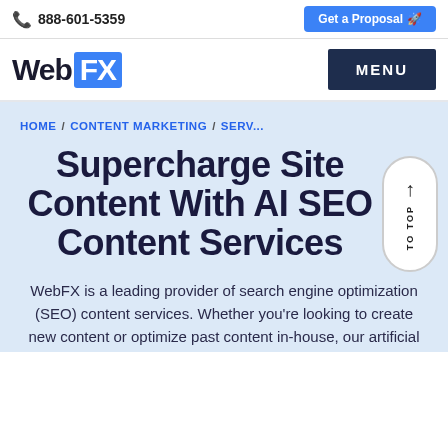888-601-5359  |  Get a Proposal
[Figure (logo): WebFX logo with blue FX box and MENU button]
HOME / CONTENT MARKETING / SERV...
Supercharge Site Content With AI SEO Content Services
WebFX is a leading provider of search engine optimization (SEO) content services. Whether you're looking to create new content or optimize past content in-house, our artificial